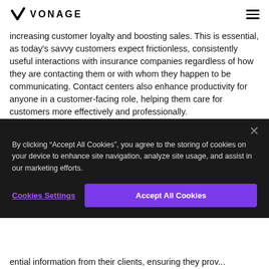VONAGE
increasing customer loyalty and boosting sales. This is essential, as today's savvy customers expect frictionless, consistently useful interactions with insurance companies regardless of how they are contacting them or with whom they happen to be communicating. Contact centers also enhance productivity for anyone in a customer-facing role, helping them care for customers more effectively and professionally.
Agents can respond better to their clients with the aid of cloud-
By clicking “Accept All Cookies”, you agree to the storing of cookies on your device to enhance site navigation, analyze site usage, and assist in our marketing efforts.
Cookies Settings
Accept All Cookies